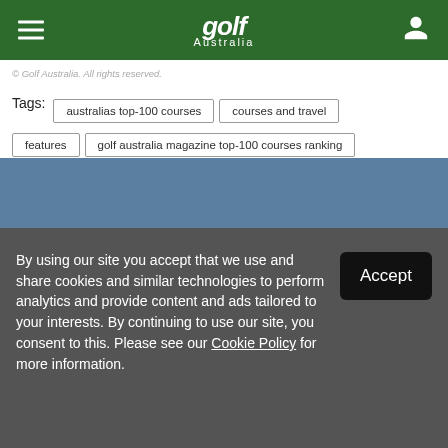Golf Australia
© Golf Australia. All rights reserved.
Tags: australias top-100 courses | courses and travel | features | golf australia magazine top-100 courses ranking | links golf | stmichaels golf club | top-100 courses ranking
By using our site you accept that we use and share cookies and similar technologies to perform analytics and provide content and ads tailored to your interests. By continuing to use our site, you consent to this. Please see our Cookie Policy for more information.